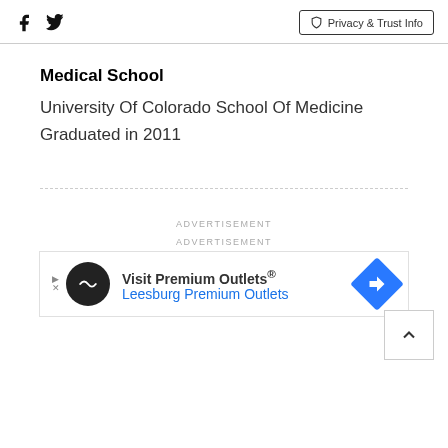Facebook Twitter | Privacy & Trust Info
Medical School
University Of Colorado School Of Medicine Graduated in 2011
ADVERTISEMENT
ADVERTISEMENT
[Figure (other): Advertisement banner for Visit Premium Outlets® Leesburg Premium Outlets with logo and navigation arrow icon]